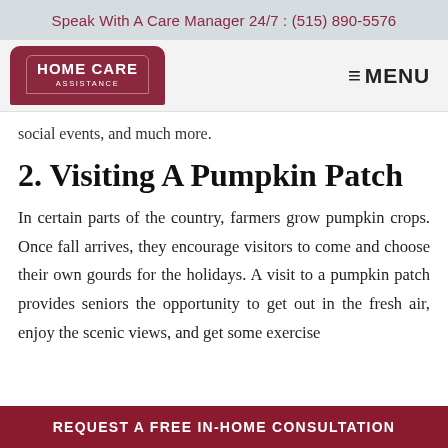Speak With A Care Manager 24/7 : (515) 890-5576
[Figure (logo): Home Care Assistance logo — dark red rounded rectangle with white text reading HOME CARE ASSISTANCE]
social events, and much more.
2. Visiting A Pumpkin Patch
In certain parts of the country, farmers grow pumpkin crops. Once fall arrives, they encourage visitors to come and choose their own gourds for the holidays. A visit to a pumpkin patch provides seniors the opportunity to get out in the fresh air, enjoy the scenic views, and get some exercise
REQUEST A FREE IN-HOME CONSULTATION